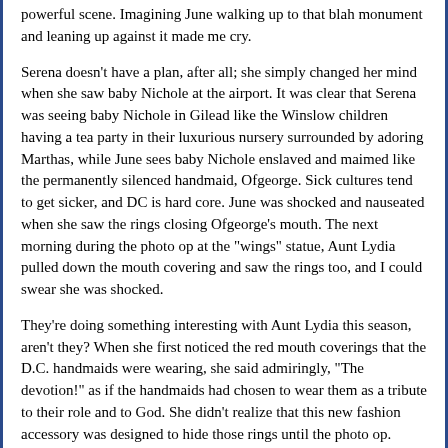powerful scene. Imagining June walking up to that blah monument and leaning up against it made me cry.
Serena doesn't have a plan, after all; she simply changed her mind when she saw baby Nichole at the airport. It was clear that Serena was seeing baby Nichole in Gilead like the Winslow children having a tea party in their luxurious nursery surrounded by adoring Marthas, while June sees baby Nichole enslaved and maimed like the permanently silenced handmaid, Ofgeorge. Sick cultures tend to get sicker, and DC is hard core. June was shocked and nauseated when she saw the rings closing Ofgeorge's mouth. The next morning during the photo op at the "wings" statue, Aunt Lydia pulled down the mouth covering and saw the rings too, and I could swear she was shocked.
They're doing something interesting with Aunt Lydia this season, aren't they? When she first noticed the red mouth coverings that the D.C. handmaids were wearing, she said admiringly, "The devotion!" as if the handmaids had chosen to wear them as a tribute to their role and to God. She didn't realize that this new fashion accessory was designed to hide those rings until the photo op. When Aunt Lydia brought the mouth covering to June for the prayer at the Memorial, June asked her tearfully, "Do you want us all to be silenced?" and Lydia said, "No. No, I don't." Lydia seems to believe in Gilead most of the time, but I think the harsh reality is